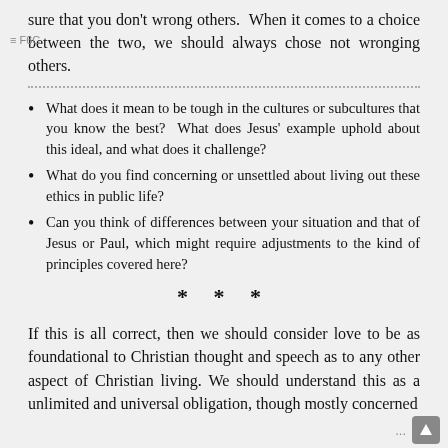sure that you don't wrong others.  When it comes to a choice between the two, we should always chose not wronging others.
What does it mean to be tough in the cultures or subcultures that you know the best?  What does Jesus' example uphold about this ideal, and what does it challenge?
What do you find concerning or unsettled about living out these ethics in public life?
Can you think of differences between your situation and that of Jesus or Paul, which might require adjustments to the kind of principles covered here?
* * *
If this is all correct, then we should consider love to be as foundational to Christian thought and speech as to any other aspect of Christian living. We should understand this as a unlimited and universal obligation, though mostly concerned